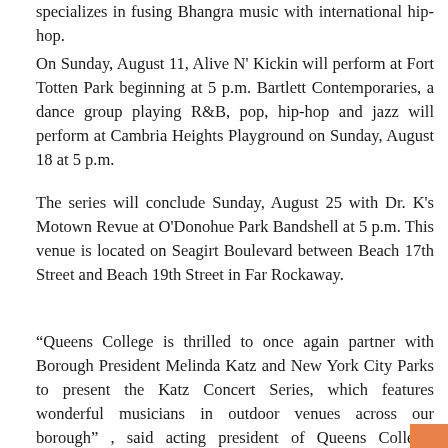specializes in fusing Bhangra music with international hip-hop.
On Sunday, August 11, Alive N' Kickin will perform at Fort Totten Park beginning at 5 p.m. Bartlett Contemporaries, a dance group playing R&B, pop, hip-hop and jazz will perform at Cambria Heights Playground on Sunday, August 18 at 5 p.m.
The series will conclude Sunday, August 25 with Dr. K's Motown Revue at O'Donohue Park Bandshell at 5 p.m. This venue is located on Seagirt Boulevard between Beach 17th Street and Beach 19th Street in Far Rockaway.
“Queens College is thrilled to once again partner with Borough President Melinda Katz and New York City Parks to present the Katz Concert Series, which features wonderful musicians in outdoor venues across our borough” , said acting president of Queens College, William Tramontano. “This vital series fulfills the goals of the Kupferberg Center for the Arts at Queens College, making the best cultural programs easily accessible to our students, their families and the Queens community.”